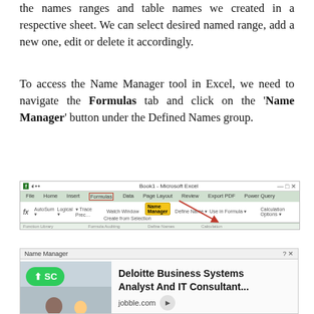the names ranges and table names we created in a respective sheet. We can select desired named range, add a new one, edit or delete it accordingly.
To access the Name Manager tool in Excel, we need to navigate the Formulas tab and click on the 'Name Manager' button under the Defined Names group.
[Figure (screenshot): Screenshot of Microsoft Excel ribbon showing the Formulas tab selected, with the Name Manager button highlighted in yellow and red arrows pointing to it. The Formulas tab label is outlined in a red box.]
This will open a Name Manager window to get the details of all the existing named ranges.
[Figure (screenshot): Partial screenshot of the Name Manager dialog window in Excel, partially overlaid by a sponsored advertisement for Deloitte Business Systems Analyst And IT Consultant from jobble.com, with a green scroll-up button.]